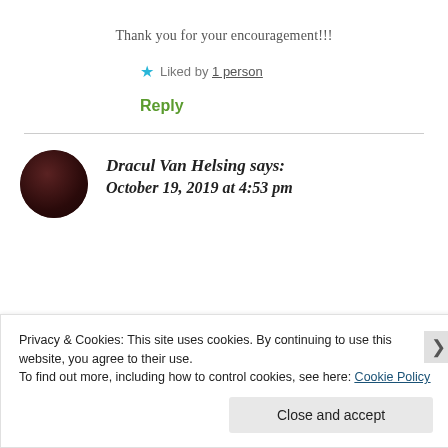Thank you for your encouragement!!!
★ Liked by 1 person
Reply
Dracul Van Helsing says: October 19, 2019 at 4:53 pm
Privacy & Cookies: This site uses cookies. By continuing to use this website, you agree to their use.
To find out more, including how to control cookies, see here: Cookie Policy
Close and accept